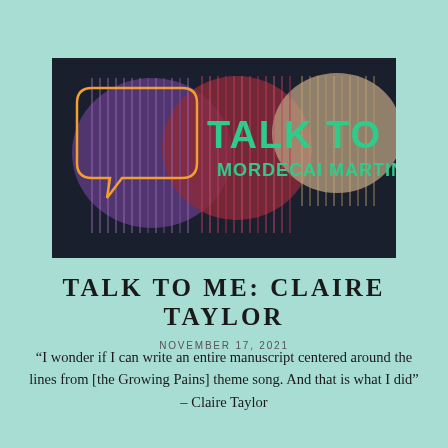[Figure (illustration): Banner image with dark background showing colorful speech bubble shapes in purple, red/pink, and tan/wheat colors with vertical line texture. An orange outlined speech bubble on the left. Green bold text reads 'TALK TO ME' and below it 'MORDECAI MARTIN'.]
TALK TO ME: CLAIRE TAYLOR
NOVEMBER 17, 2021
“I wonder if I can write an entire manuscript centered around the lines from [the Growing Pains] theme song. And that is what I did” – Claire Taylor